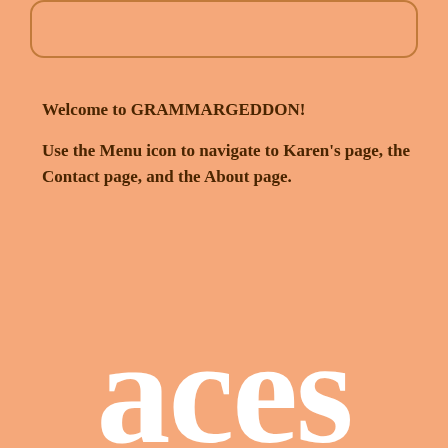[Figure (other): Rounded rectangle box outline at top of page]
Welcome to GRAMMARGEDDON!
Use the Menu icon to navigate to Karen's page, the Contact page, and the About page.
aces